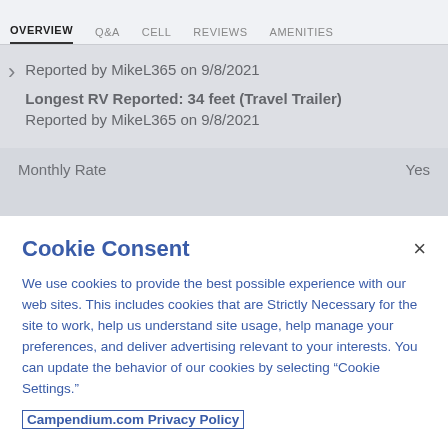OVERVIEW  Q&A  CELL  REVIEWS  AMENITIES
Reported by MikeL365 on 9/8/2021
Longest RV Reported: 34 feet (Travel Trailer)
Reported by MikeL365 on 9/8/2021
| Monthly Rate | Yes |
| --- | --- |
Cookie Consent
We use cookies to provide the best possible experience with our web sites. This includes cookies that are Strictly Necessary for the site to work, help us understand site usage, help manage your preferences, and deliver advertising relevant to your interests. You can update the behavior of our cookies by selecting "Cookie Settings."
Campendium.com Privacy Policy
Cookie Settings  Accept Cookies